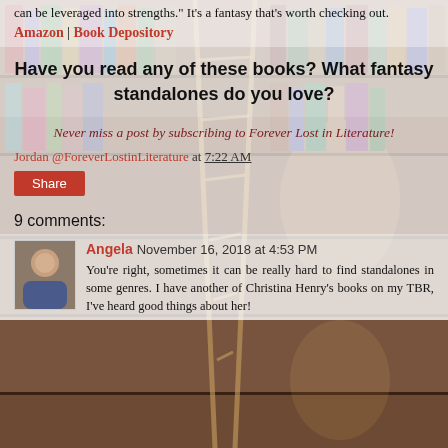can be leveraged into strengths." It's a fantasy that's worth checking out.
Amazon | Book Depository
Have you read any of these books? What fantasy standalones do you love?
Never miss a post by subscribing to Forever Lost in Literature!
Jordan @ForeverLostinLiterature at 7:22 AM
Share
9 comments:
Angela November 16, 2018 at 4:53 PM
You're right, sometimes it can be really hard to find standalones in some genres. I have another of Christina Henry's books on my TBR, I've heard good things about her!